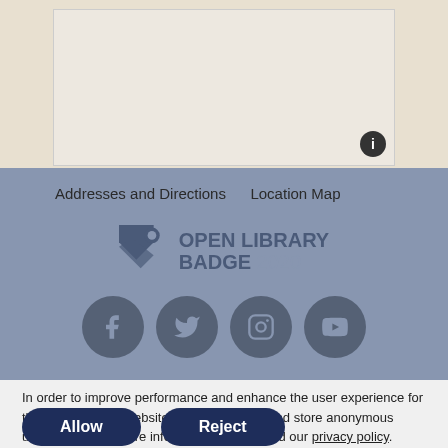[Figure (map): Map area with info button in lower right corner]
Addresses and Directions   Location Map
[Figure (logo): Open Library Badge 2020 logo]
[Figure (infographic): Social media icons: Facebook, Twitter, Instagram, YouTube]
In order to improve performance and enhance the user experience for the visitors to our website, we use cookies and store anonymous usage data. For more information please read our privacy policy.
Allow
Reject